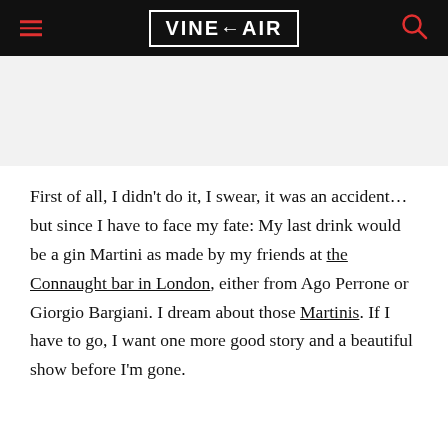VINEPAIR
First of all, I didn't do it, I swear, it was an accident… but since I have to face my fate: My last drink would be a gin Martini as made by my friends at the Connaught bar in London, either from Ago Perrone or Giorgio Bargiani. I dream about those Martinis. If I have to go, I want one more good story and a beautiful show before I'm gone.